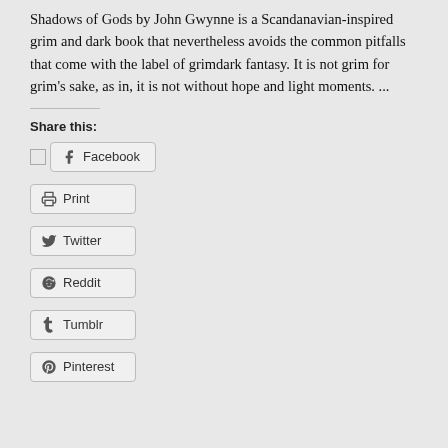Shadows of Gods by John Gwynne is a Scandanavian-inspired grim and dark book that nevertheless avoids the common pitfalls that come with the label of grimdark fantasy. It is not grim for grim's sake, as in, it is not without hope and light moments. ...
Share this:
Facebook
Print
Twitter
Reddit
Tumblr
Pinterest